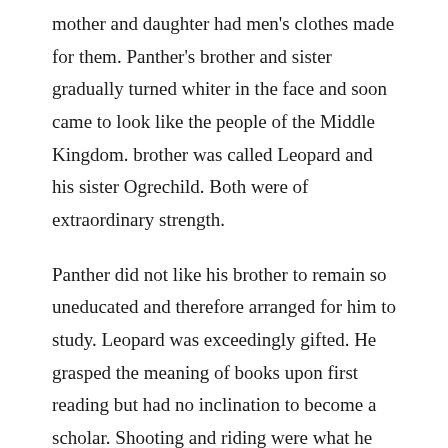mother and daughter had men's clothes made for them. Panther's brother and sister gradually turned whiter in the face and soon came to look like the people of the Middle Kingdom. brother was called Leopard and his sister Ogrechild. Both were of extraordinary strength.
Panther did not like his brother to remain so uneducated and therefore arranged for him to study. Leopard was exceedingly gifted. He grasped the meaning of books upon first reading but had no inclination to become a scholar. Shooting and riding were what he liked best. so he made a great military career and eventually married the daughter of a highly respected official.
It was a long time, however, before Ogrechild found a husband because the men were all afraid of their mother-